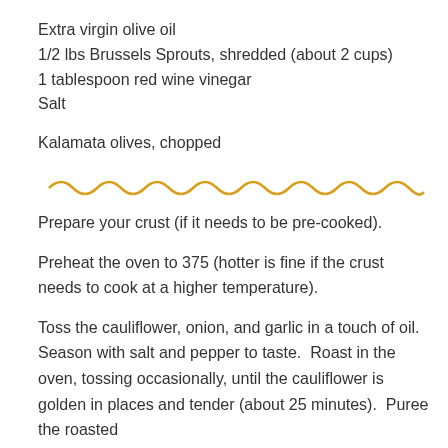Extra virgin olive oil
1/2 lbs Brussels Sprouts, shredded (about 2 cups)
1 tablespoon red wine vinegar
Salt
Kalamata olives, chopped
[Figure (other): Decorative wavy tilde divider line in golden/yellow color]
Prepare your crust (if it needs to be pre-cooked).
Preheat the oven to 375 (hotter is fine if the crust needs to cook at a higher temperature).
Toss the cauliflower, onion, and garlic in a touch of oil. Season with salt and pepper to taste.  Roast in the oven, tossing occasionally, until the cauliflower is golden in places and tender (about 25 minutes).  Puree the roasted